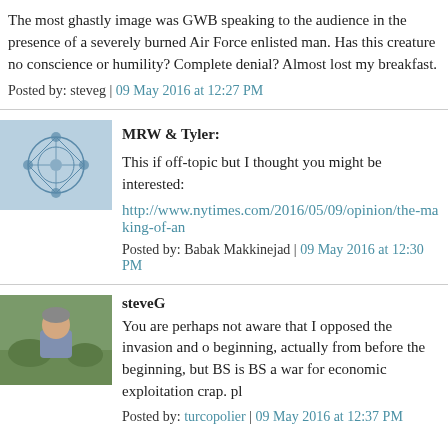The most ghastly image was GWB speaking to the audience in the presence of a severely burned Air Force enlisted man. Has this creature no conscience or humility? Complete denial? Almost lost my breakfast.
Posted by: steveg | 09 May 2016 at 12:27 PM
MRW & Tyler:
This if off-topic but I thought you might be interested:
http://www.nytimes.com/2016/05/09/opinion/the-making-of-an
Posted by: Babak Makkinejad | 09 May 2016 at 12:30 PM
steveG
You are perhaps not aware that I opposed the invasion and o beginning, actually from before the beginning, but BS is BS a war for economic exploitation crap. pl
Posted by: turcopolier | 09 May 2016 at 12:37 PM